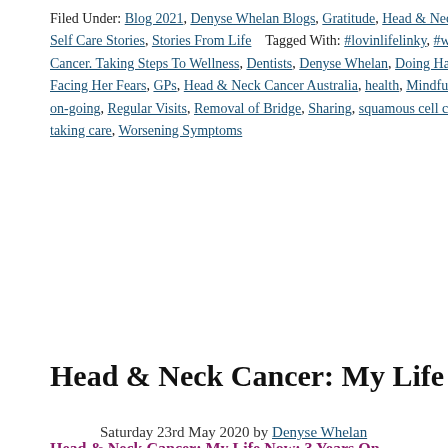Filed Under: Blog 2021, Denyse Whelan Blogs, Gratitude, Head & Neck..., Self Care Stories, Stories From Life   Tagged With: #lovinlifelinky, #week..., Cancer. Taking Steps To Wellness, Dentists, Denyse Whelan, Doing Hard T..., Facing Her Fears, GPs, Head & Neck Cancer Australia, health, Mindfulnes..., on-going, Regular Visits, Removal of Bridge, Sharing, squamous cell carci..., taking care, Worsening Symptoms
Head & Neck Cancer: My Life Now: 3 Years On...
Saturday 23rd May 2020 by Denyse Whelan
Head & Neck Cancer: My Life Now: 3 Years On. 41.1/2020.